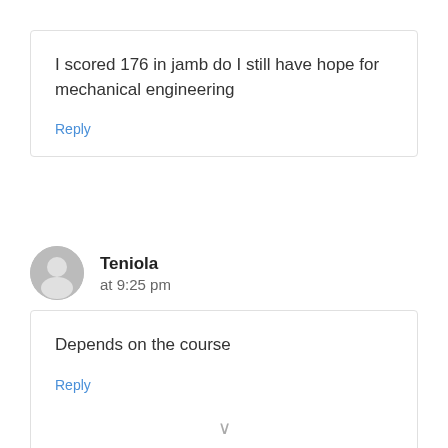I scored 176 in jamb do I still have hope for mechanical engineering
Reply
Teniola
at 9:25 pm
Depends on the course
Reply